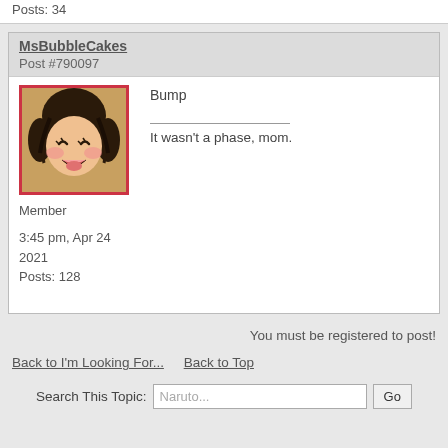Posts: 34
MsBubbleCakes
Post #790097
[Figure (illustration): Anime avatar image of a smiling/laughing character with dark hair and a pink/red border frame]
Bump
It wasn't a phase, mom.
Member
3:45 pm, Apr 24 2021
Posts: 128
You must be registered to post!
Back to I'm Looking For...   Back to Top
Search This Topic: Naruto...  Go